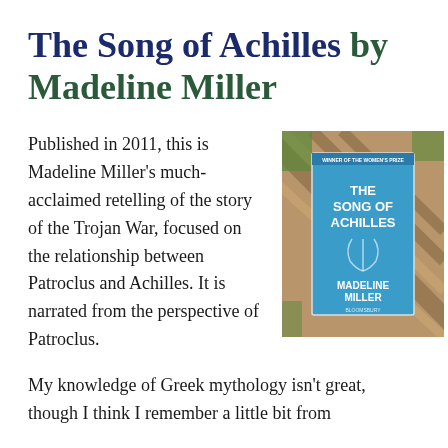The Song of Achilles by Madeline Miller
Published in 2011, this is Madeline Miller's much-acclaimed retelling of the story of the Trojan War, focused on the relationship between Patroclus and Achilles. It is narrated from the perspective of Patroclus.
[Figure (photo): A photo of the book 'The Song of Achilles' by Madeline Miller (blue cover, published by Bloomsbury) resting on wooden planks, with grass visible in the background.]
My knowledge of Greek mythology isn't great, though I think I remember a little bit from